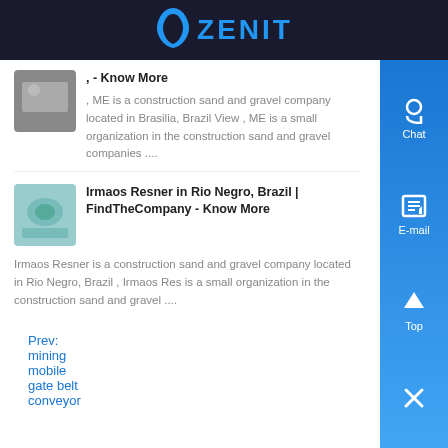ZENIT
, - Know More
, ME is a construction sand and gravel company located in Brasilia, Brazil View , ME is a small organization in the construction sand and gravel companies ....
Irmaos Resner in Rio Negro, Brazil | FindTheCompany - Know More
Irmaos Resner is a construction sand and gravel company located in Rio Negro, Brazil , Irmaos Res is a small organization in the construction sand and gravel ....
Prev: mining mobile gate belt conveyor